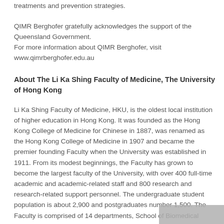treatments and prevention strategies.
QIMR Berghofer gratefully acknowledges the support of the Queensland Government.
For more information about QIMR Berghofer, visit
www.qimrberghofer.edu.au
About The Li Ka Shing Faculty of Medicine, The University of Hong Kong
Li Ka Shing Faculty of Medicine, HKU, is the oldest local institution of higher education in Hong Kong. It was founded as the Hong Kong College of Medicine for Chinese in 1887, was renamed as the Hong Kong College of Medicine in 1907 and became the premier founding Faculty when the University was established in 1911. From its modest beginnings, the Faculty has grown to become the largest faculty of the University, with over 400 full-time academic and academic-related staff and 800 research and research-related support personnel. The undergraduate student population is about 2,900 and postgraduates number 1,500. The Faculty is comprised of 14 departments, School of Biomedical Sciences, School of Chinese